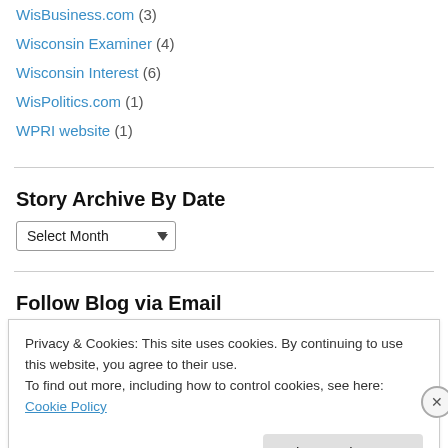WisBusiness.com (3)
Wisconsin Examiner (4)
Wisconsin Interest (6)
WisPolitics.com (1)
WPRI website (1)
Story Archive By Date
Select Month
Follow Blog via Email
Privacy & Cookies: This site uses cookies. By continuing to use this website, you agree to their use.
To find out more, including how to control cookies, see here: Cookie Policy
Close and accept